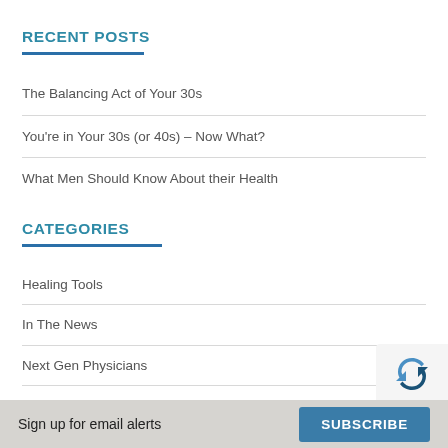RECENT POSTS
The Balancing Act of Your 30s
You're in Your 30s (or 40s) – Now What?
What Men Should Know About their Health
CATEGORIES
Healing Tools
In The News
Next Gen Physicians
Nutrition
Patient Series
Sign up for email alerts   SUBSCRIBE